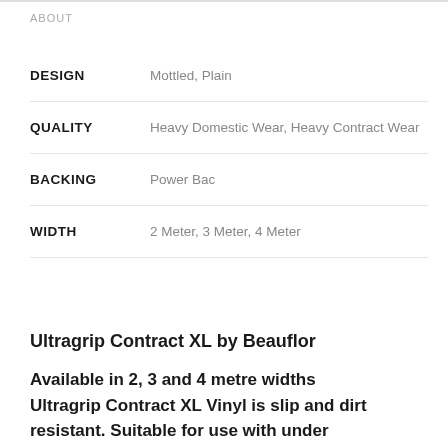ABOUT
| Attribute | Value |
| --- | --- |
| DESIGN | Mottled, Plain |
| QUALITY | Heavy Domestic Wear, Heavy Contract Wear |
| BACKING | Power Bac |
| WIDTH | 2 Meter, 3 Meter, 4 Meter |
Ultragrip Contract XL by Beauflor
Available in 2, 3 and 4 metre widths Ultragrip Contract XL Vinyl is slip and dirt resistant. Suitable for use with under